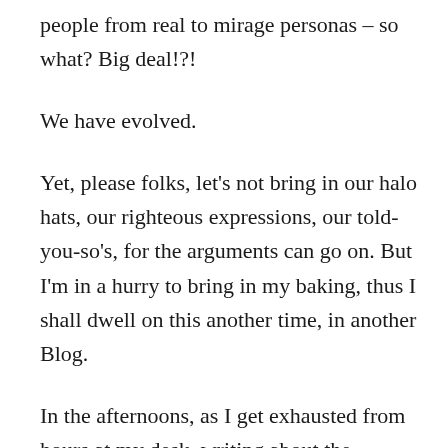people from real to mirage personas – so what? Big deal!?!
We have evolved.
Yet, please folks, let's not bring in our halo hats, our righteous expressions, our told-you-so's, for the arguments can go on. But I'm in a hurry to bring in my baking, thus I shall dwell on this another time, in another Blog.
In the afternoons, as I get exhausted from hours at my desk, writing about the Education Icons for my coffeetabler who I have already met, I move to my